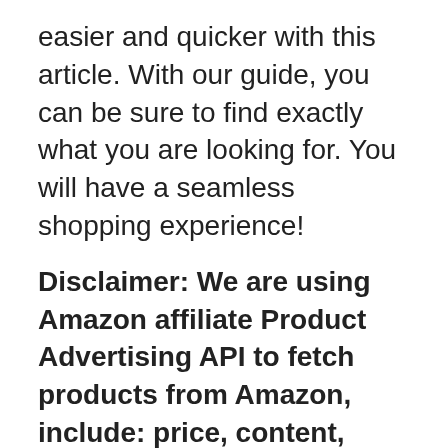easier and quicker with this article. With our guide, you can be sure to find exactly what you are looking for. You will have a seamless shopping experience!
Disclaimer: We are using Amazon affiliate Product Advertising API to fetch products from Amazon, include: price, content, image, logo, brand, feature of products which are trademarks of Amazon.com. So, when you buy through links on our site, we may earn an affiliate commission at no extra cost to you.. Read more.
| # | Preview | Product | Score |
| --- | --- | --- | --- |
|   |   |   |   |